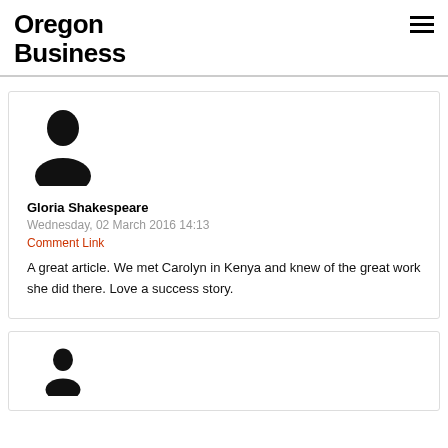Oregon Business
[Figure (illustration): Generic user avatar silhouette icon (head and shoulders, black)]
Gloria Shakespeare
Wednesday, 02 March 2016 14:13
Comment Link
A great article. We met Carolyn in Kenya and knew of the great work she did there. Love a success story.
[Figure (illustration): Generic user avatar silhouette icon (head and shoulders, black) — partial, bottom cut off]